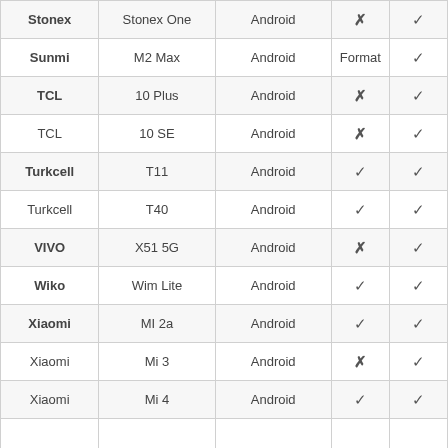| Stonex | Stonex One | Android | ✗ | ✓ |
| Sunmi | M2 Max | Android | Format | ✓ |
| TCL | 10 Plus | Android | ✗ | ✓ |
| TCL | 10 SE | Android | ✗ | ✓ |
| Turkcell | T11 | Android | ✓ | ✓ |
| Turkcell | T40 | Android | ✓ | ✓ |
| VIVO | X51 5G | Android | ✗ | ✓ |
| Wiko | Wim Lite | Android | ✓ | ✓ |
| Xiaomi | MI 2a | Android | ✓ | ✓ |
| Xiaomi | Mi 3 | Android | ✗ | ✓ |
| Xiaomi | Mi 4 | Android | ✓ | ✓ |